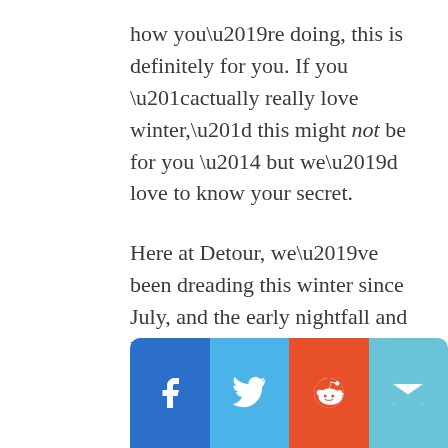how you’re doing, this is definitely for you. If you “actually really love winter,” this might not be for you — but we’d love to know your secret.

Here at Detour, we’ve been dreading this winter since July, and the early nightfall and limited socializing is seriously wearing us down. Of course there’s plenty one can do in the city — but it can still be a struggle to
[Figure (infographic): Social share bar with four buttons: Facebook (blue), Twitter (light blue), Reddit (orange-red), Email (light blue/teal)]